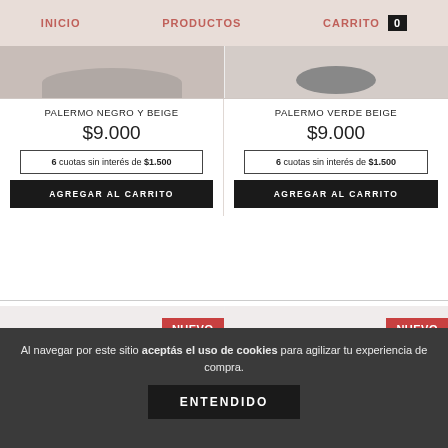INICIO  PRODUCTOS  CARRITO 0
PALERMO NEGRO Y BEIGE
$9.000
6 cuotas sin interés de $1.500
AGREGAR AL CARRITO
PALERMO VERDE BEIGE
$9.000
6 cuotas sin interés de $1.500
AGREGAR AL CARRITO
[Figure (photo): Two new product placeholders with NUEVO badge]
Al navegar por este sitio aceptás el uso de cookies para agilizar tu experiencia de compra.
ENTENDIDO